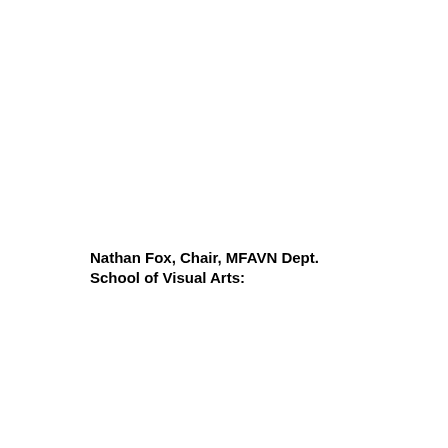Nathan Fox, Chair, MFAVN Dept. School of Visual Arts: